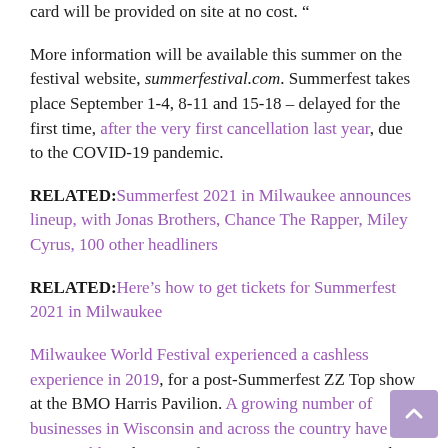card will be provided on site at no cost. "
More information will be available this summer on the festival website, summerfestival.com. Summerfest takes place September 1-4, 8-11 and 15-18 – delayed for the first time, after the very first cancellation last year, due to the COVID-19 pandemic.
RELATED: Summerfest 2021 in Milwaukee announces lineup, with Jonas Brothers, Chance The Rapper, Miley Cyrus, 100 other headliners
RELATED: Here's how to get tickets for Summerfest 2021 in Milwaukee
Milwaukee World Festival experienced a cashless experience in 2019, for a post-Summerfest ZZ Top show at the BMO Harris Pavilion. A growing number of businesses in Wisconsin and across the country have gone cashless that year, forcing customers to pay with credit cards, debit cards, or smartphones